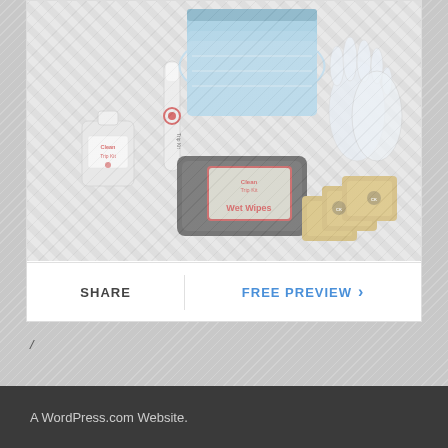[Figure (photo): Product photo showing Clean Trip Kit items including hand sanitizer bottle, spray pen labeled 'Trip Kit', blue face masks, wet wipes packet, white disposable gloves, and gold foil wrapped items, all arranged on a diagonal striped background]
SHARE
FREE PREVIEW ›
/
A WordPress.com Website.